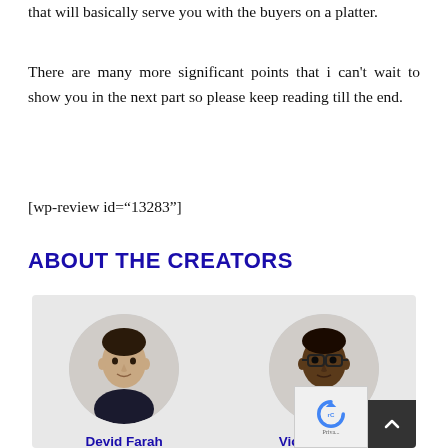that will basically serve you with the buyers on a platter.
There are many more significant points that i can't wait to show you in the next part so please keep reading till the end.
[wp-review id="13283"]
ABOUT THE CREATORS
[Figure (photo): Two circular profile photos side by side on a gray background. Left: Devid Farah (man with short dark hair). Right: Victory Akpos (man with glasses). Both names shown in blue bold text below their photos.]